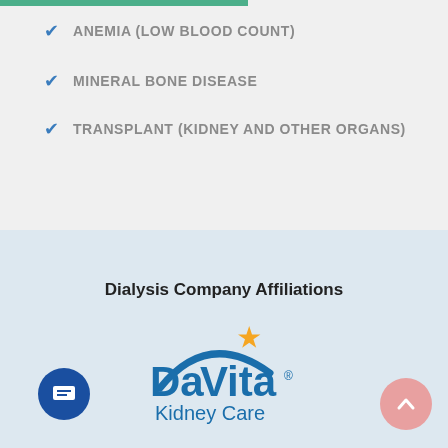ANEMIA (LOW BLOOD COUNT)
MINERAL BONE DISEASE
TRANSPLANT (KIDNEY AND OTHER ORGANS)
Dialysis Company Affiliations
[Figure (logo): DaVita Kidney Care logo with orange star and blue arc]
[Figure (other): Blue circular chat/message button]
[Figure (other): Pink circular scroll-to-top button with upward chevron]